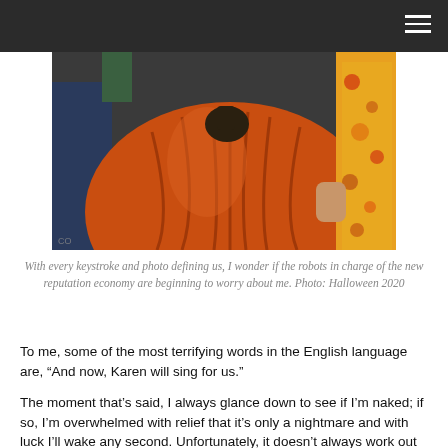[Figure (photo): Close-up photo of a large orange pumpkin being held, with a person wearing a colorful floral-patterned scarf visible in the background on the right side.]
With every keystroke and photo defining us, I wonder if the robots in charge of the new reputation economy are beginning to worry about me. Photo: Halloween 2020
To me, some of the most terrifying words in the English language are, “And now, Karen will sing for us.”
The moment that’s said, I always glance down to see if I’m naked; if so, I’m overwhelmed with relief that it’s only a nightmare and with luck I’ll wake any second. Unfortunately, it doesn’t always work out that way, and I realize to my horror that I am A) fully clothed, and B) actually